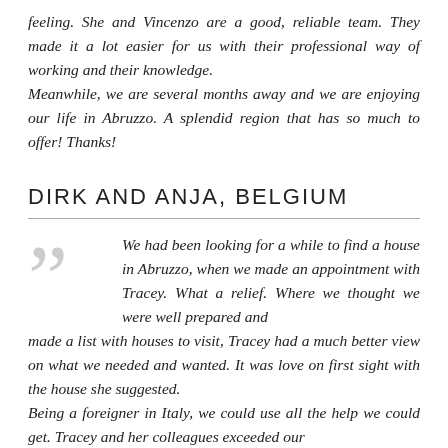feeling. She and Vincenzo are a good, reliable team. They made it a lot easier for us with their professional way of working and their knowledge.
Meanwhile, we are several months away and we are enjoying our life in Abruzzo. A splendid region that has so much to offer! Thanks!
DIRK AND ANJA, BELGIUM
We had been looking for a while to find a house in Abruzzo, when we made an appointment with Tracey. What a relief. Where we thought we were well prepared and made a list with houses to visit, Tracey had a much better view on what we needed and wanted. It was love on first sight with the house she suggested.
Being a foreigner in Italy, we could use all the help we could get. Tracey and her colleagues exceeded our